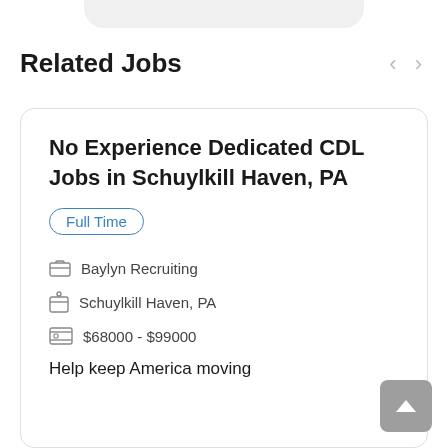Related Jobs
No Experience Dedicated CDL Jobs in Schuylkill Haven, PA
Full Time
Baylyn Recruiting
Schuylkill Haven, PA
$68000 - $99000
Help keep America moving